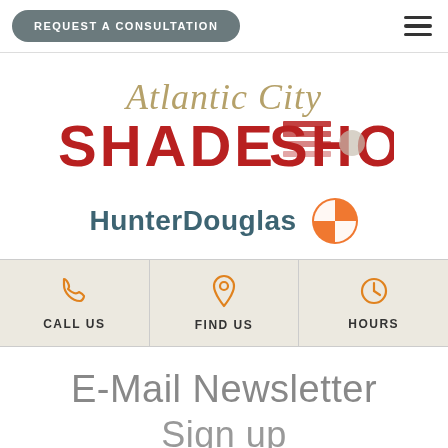REQUEST A CONSULTATION
[Figure (logo): Atlantic City Shade Shop logo with gold italic script 'Atlantic City' above bold red 'SHADE SHOP' text with decorative blind graphic integrated into letters]
[Figure (logo): HunterDouglas logo with dark teal text and orange four-quadrant diamond icon]
CALL US | FIND US | HOURS
E-Mail Newsletter
Sign up